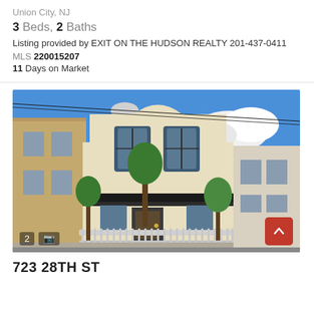Union City, NJ
3 Beds, 2 Baths
Listing provided by EXIT ON THE HUDSON REALTY 201-437-0411
MLS 220015207
11 Days on Market
[Figure (photo): Exterior photo of a two-story residential home with light yellow/cream siding, dark trim, arched second-floor windows, a white iron fence, and small trees along the front. Blue sky with clouds visible. Photo shows a Union City, NJ street.]
2
723 28TH ST